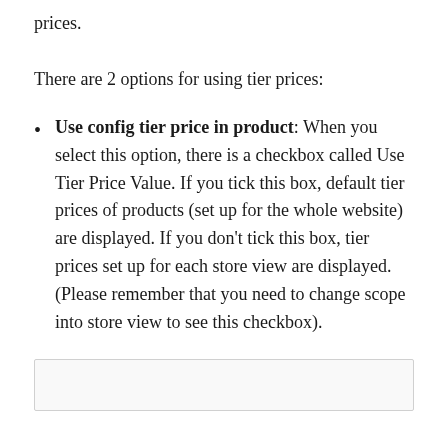prices.
There are 2 options for using tier prices:
Use config tier price in product: When you select this option, there is a checkbox called Use Tier Price Value. If you tick this box, default tier prices of products (set up for the whole website) are displayed. If you don't tick this box, tier prices set up for each store view are displayed. (Please remember that you need to change scope into store view to see this checkbox).
[Figure (screenshot): Screenshot placeholder box at bottom of page]